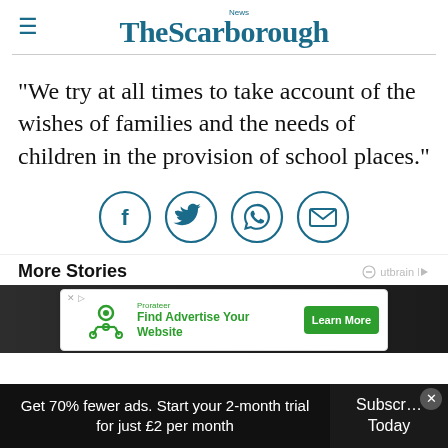The Scarborough News
"We try at all times to take account of the wishes of families and the needs of children in the provision of school places."
[Figure (infographic): Four social sharing icon circles: Facebook, Twitter, WhatsApp, Email in teal/dark blue outline style]
More Stories
[Figure (photo): Dark background photo strip showing people]
[Figure (infographic): Advertisement overlay: Prorateer - Find Advertise Your Website with Learn More button]
Get 70% fewer ads. Start your 2-month trial for just £2 per month
Subscribe Today